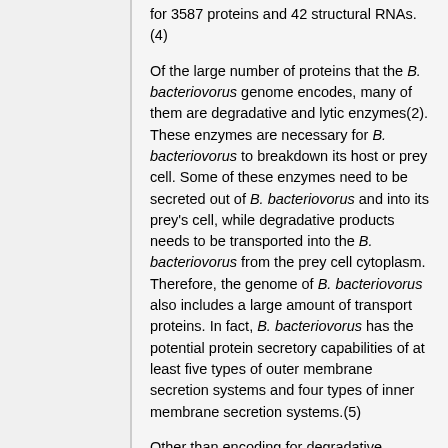for 3587 proteins and 42 structural RNAs.(4)
Of the large number of proteins that the B. bacteriovorus genome encodes, many of them are degradative and lytic enzymes(2). These enzymes are necessary for B. bacteriovorus to breakdown its host or prey cell. Some of these enzymes need to be secreted out of B. bacteriovorus and into its prey's cell, while degradative products needs to be transported into the B. bacteriovorus from the prey cell cytoplasm. Therefore, the genome of B. bacteriovorus also includes a large amount of transport proteins. In fact, B. bacteriovorus has the potential protein secretory capabilities of at least five types of outer membrane secretion systems and four types of inner membrane secretion systems.(5)
Other than encoding for degradative enzymes and transport systems, the chromosome also contains multiple biosynthetic gene clusters that are necessary for the formation of the flagella and pilus. These gene clusters are essential for the motility B. bacteriovorus,